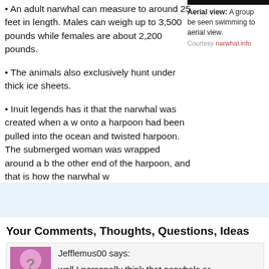• An adult narwhal can measure to around 25 feet in length. Males can weigh up to 3,500 pounds while females are about 2,200 pounds.
[Figure (photo): Black bar at top of aerial view image]
Aerial view: A group ... be seen swimming to... aerial view.
Courtesy narwhal.info
• The animals also exclusively hunt under thick ice sheets.
• Inuit legends has it that the narwhal was created when a w... onto a harpoon had been pulled into the ocean and twisted... harpoon. The submerged woman was wrapped around a b... the other end of the harpoon, and that is how the narwhal w...
Your Comments, Thoughts, Questions, Ideas
Jefflemus00 says:
[Figure (illustration): Pink avatar placeholder with question mark]
well I personally think that narwhals ar...